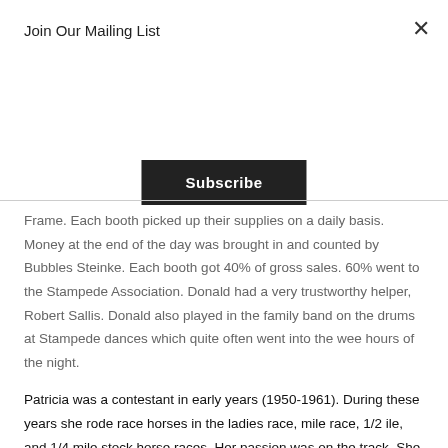Join Our Mailing List
Subscribe
Frame. Each booth picked up their supplies on a daily basis. Money at the end of the day was brought in and counted by Bubbles Steinke. Each booth got 40% of gross sales. 60% went to the Stampede Association. Donald had a very trustworthy helper, Robert Sallis. Donald also played in the family band on the drums at Stampede dances which quite often went into the wee hours of the night.
Patricia was a contestant in early years (1950-1961). During these years she rode race horses in the ladies race, mile race, 1/2 ile, and 1/4 mile stock horse races. Her passion was on the track. She won a trophy for all around sportsman (donated by Millan